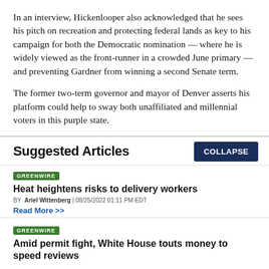In an interview, Hickenlooper also acknowledged that he sees his pitch on recreation and protecting federal lands as key to his campaign for both the Democratic nomination — where he is widely viewed as the front-runner in a crowded June primary — and preventing Gardner from winning a second Senate term.
The former two-term governor and mayor of Denver asserts his platform could help to sway both unaffiliated and millennial voters in this purple state.
Suggested Articles
GREENWIRE
Heat heightens risks to delivery workers
BY Ariel Wittenberg | 08/25/2022 01:11 PM EDT
Read More >>
GREENWIRE
Amid permit fight, White House touts money to speed reviews